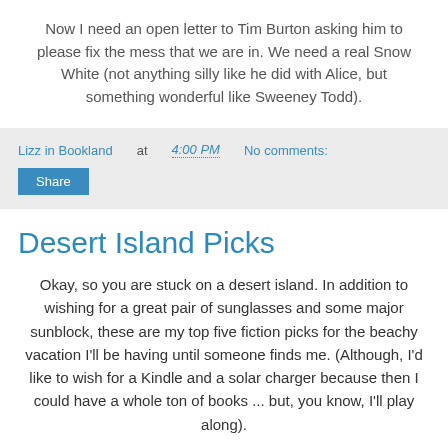Now I need an open letter to Tim Burton asking him to please fix the mess that we are in. We need a real Snow White (not anything silly like he did with Alice, but something wonderful like Sweeney Todd).
Lizz in Bookland at 4:00 PM   No comments:
Share
Desert Island Picks
Okay, so you are stuck on a desert island. In addition to wishing for a great pair of sunglasses and some major sunblock, these are my top five fiction picks for the beachy vacation I'll be having until someone finds me. (Although, I'd like to wish for a Kindle and a solar charger because then I could have a whole ton of books ... but, you know, I'll play along).